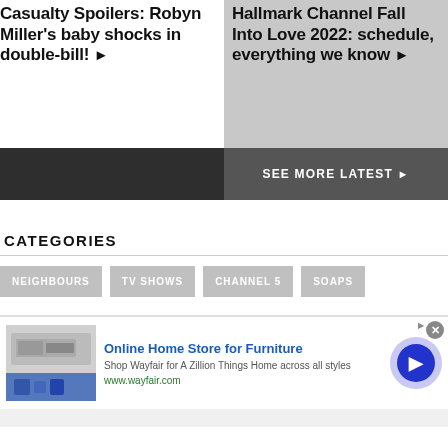Casualty Spoilers: Robyn Miller's baby shocks in double-bill! ▶
Hallmark Channel Fall Into Love 2022: schedule, everything we know ▶
SEE MORE LATEST ▶
CATEGORIES
NEIGHBOURS
TV SHOWS
CHANNEL 5
SOAPS
[Figure (screenshot): Advertisement for Wayfair online home store for furniture, showing appliance image, blue title text, description, URL, close button, and navigation arrow.]